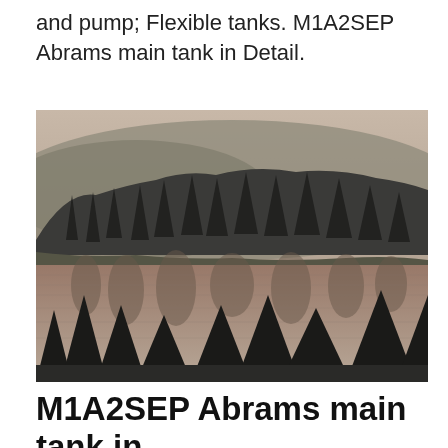and pump; Flexible tanks. M1A2SEP Abrams main tank in Detail.
[Figure (photo): Black and white landscape photograph showing a mountain lake with conifer forest reflected in still water, misty hills in background.]
M1A2SEP Abrams main tank in Detail. Alfa Hobby